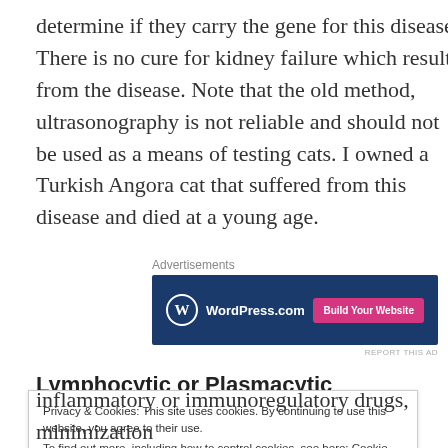determine if they carry the gene for this disease. There is no cure for kidney failure which results from the disease. Note that the old method, ultrasonography is not reliable and should not be used as a means of testing cats. I owned a Turkish Angora cat that suffered from this disease and died at a young age.
[Figure (other): WordPress.com advertisement banner with blue background, WordPress logo, and a pink 'Build Your Website' button]
Lymphocytic or Plasmacytic Inflammation Disease
Privacy & Cookies: This site uses cookies. By continuing to use this website, you agree to their use. To find out more, including how to control cookies, see here: Cookie Policy
inflammatory or immunoregulatory drugs, minimization